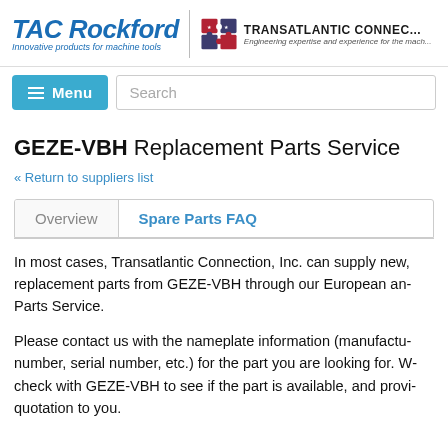[Figure (logo): TAC Rockford logo with 'Innovative products for machine tools' tagline and Transatlantic Connection logo with puzzle piece icon and 'Engineering expertise and experience for the mach...' tagline]
[Figure (screenshot): Navigation bar with blue Menu button (hamburger icon) and Search input field]
GEZE-VBH Replacement Parts Service
« Return to suppliers list
Overview | Spare Parts FAQ (tabs)
In most cases, Transatlantic Connection, Inc. can supply new, replacement parts from GEZE-VBH through our European and Parts Service.
Please contact us with the nameplate information (manufactu... number, serial number, etc.) for the part you are looking for. W... check with GEZE-VBH to see if the part is available, and provi... quotation to you.